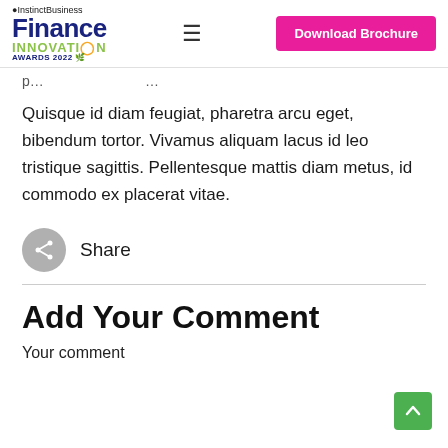Instinct Business Finance Innovation Awards 2022 | Download Brochure
Quisque id diam feugiat, pharetra arcu eget, bibendum tortor. Vivamus aliquam lacus id leo tristique sagittis. Pellentesque mattis diam metus, id commodo ex placerat vitae.
Share
Add Your Comment
Your comment